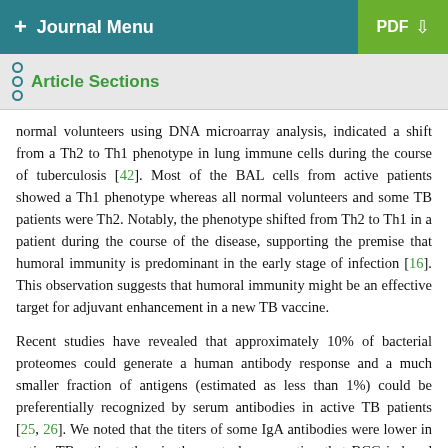+ Journal Menu   PDF ↓
Article Sections
normal volunteers using DNA microarray analysis, indicated a shift from a Th2 to Th1 phenotype in lung immune cells during the course of tuberculosis [42]. Most of the BAL cells from active patients showed a Th1 phenotype whereas all normal volunteers and some TB patients were Th2. Notably, the phenotype shifted from Th2 to Th1 in a patient during the course of the disease, supporting the premise that humoral immunity is predominant in the early stage of infection [16]. This observation suggests that humoral immunity might be an effective target for adjuvant enhancement in a new TB vaccine.
Recent studies have revealed that approximately 10% of bacterial proteomes could generate a human antibody response and a much smaller fraction of antigens (estimated as less than 1%) could be preferentially recognized by serum antibodies in active TB patients [25, 26]. We noted that the titers of some IgA antibodies were lower in active TB patients than in the controls, suggesting that BCG-induced humoral immunity to Mtb is